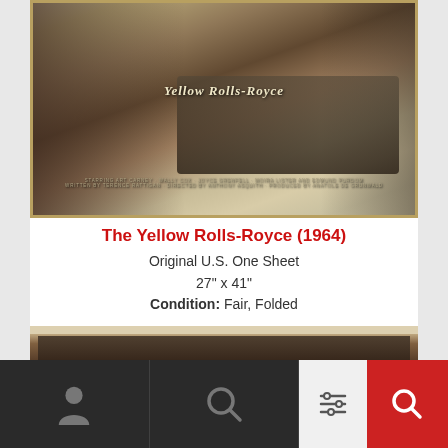[Figure (photo): Movie poster for The Yellow Rolls-Royce (1964), showing vintage MGM film poster with cast portraits and a yellow Rolls-Royce car, credits listing Art Carney, Wally Cox, Joyce Grenfell, Moira Lister, Edmund Purdom, written by Terence Rattigan, directed by Anthony Asquith]
The Yellow Rolls-Royce (1964)
Original U.S. One Sheet
27" x 41"
Condition: Fair, Folded
[Figure (photo): Partial view of a second movie-related item, appears to be a lobby card or still with dark toned image showing figures]
[Figure (screenshot): Bottom navigation bar with person icon, search icon, filter/sliders icon, and search icon on red background]